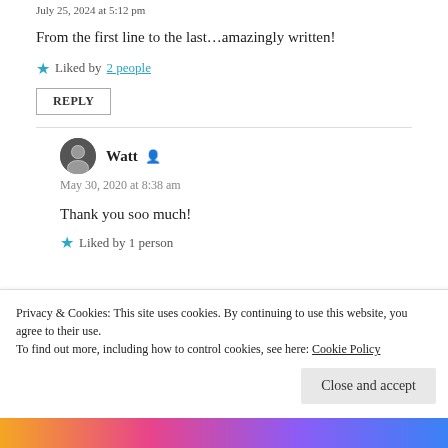July 25, 2024 at 5:12 pm
From the first line to the last...amazingly written!
★ Liked by 2 people
REPLY
Watt
May 30, 2020 at 8:38 am
Thank you soo much!
★ Liked by 1 person
Privacy & Cookies: This site uses cookies. By continuing to use this website, you agree to their use. To find out more, including how to control cookies, see here: Cookie Policy
Close and accept